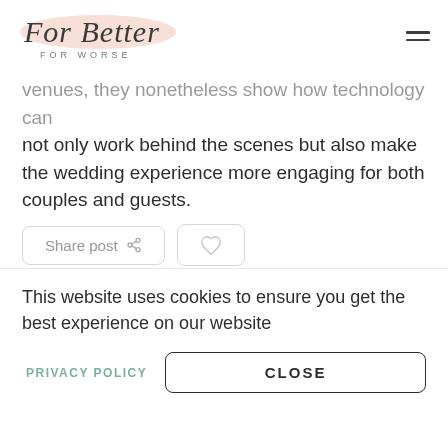For Better FOR WORSE
venues, they nonetheless show how technology can not only work behind the scenes but also make the wedding experience more engaging for both couples and guests.
[Figure (screenshot): Share post button with share icon and a like/heart button]
[Figure (illustration): Author card with dark circular avatar placeholder]
This website uses cookies to ensure you get the best experience on our website
PRIVACY POLICY   CLOSE